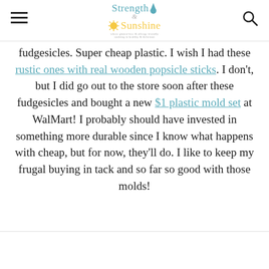Strength & Sunshine
fudgesicles. Super cheap plastic. I wish I had these rustic ones with real wooden popsicle sticks. I don't, but I did go out to the store soon after these fudgesicles and bought a new $1 plastic mold set at WalMart! I probably should have invested in something more durable since I know what happens with cheap, but for now, they'll do. I like to keep my frugal buying in tack and so far so good with those molds!